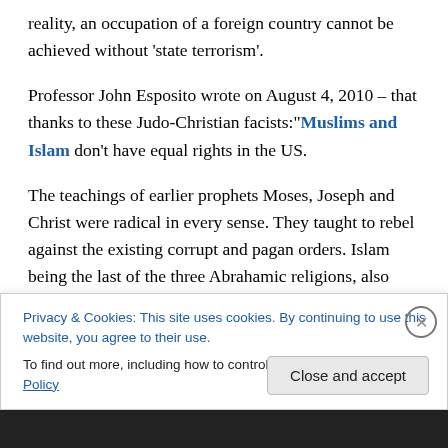reality, an occupation of a foreign country cannot be achieved without 'state terrorism'.
Professor John Esposito wrote on August 4, 2010 – that thanks to these Judo-Christian facists:"Muslims and Islam don't have equal rights in the US.
The teachings of earlier prophets Moses, Joseph and Christ were radical in every sense. They taught to rebel against the existing corrupt and pagan orders. Islam being the last of the three Abrahamic religions, also carry the same messages – fight against all kind of oppressions
Privacy & Cookies: This site uses cookies. By continuing to use this website, you agree to their use.
To find out more, including how to control cookies, see here: Cookie Policy
Close and accept